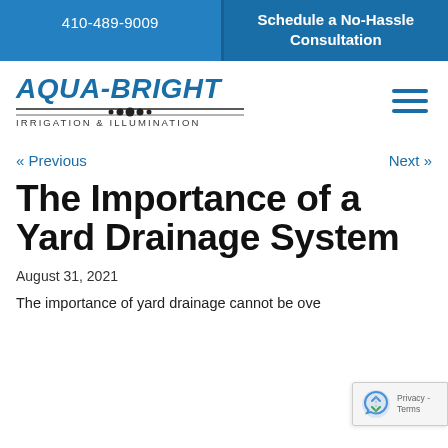410-489-9009
Schedule a No-Hassle Consultation
[Figure (logo): Aqua-Bright Irrigation & Illumination logo with blue bold italic text and decorative line with dots]
« Previous
Next »
The Importance of a Yard Drainage System
August 31, 2021
The importance of yard drainage cannot be over... Yard drainage...